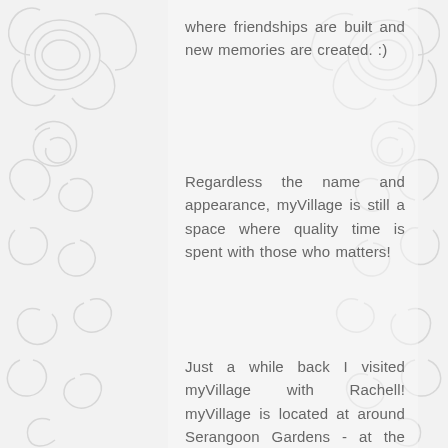[Figure (illustration): Decorative swirl/paisley pattern border on left and right sides of the page on a light gray background]
where friendships are built and new memories are created. :)
Regardless the name and appearance, myVillage is still a space where quality time is spent with those who matters!
Just a while back I visited myVillage with Rachell! myVillage is located at around Serangoon Gardens - at the North East region (which means it's not somewhere I've been to often haha) but I'm pleasantly